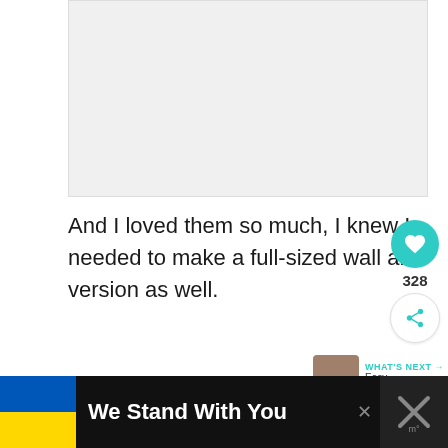[Figure (photo): Image placeholder at top of article, light gray rectangle]
And I loved them so much, I knew I needed to make a full-sized wall art version as well.
[Figure (infographic): Social sharing sidebar with heart icon (teal), count 328, and share icon]
[Figure (photo): What's Next thumbnail showing Easy Farmhouse... article]
[Figure (photo): Partial image at bottom of article, light gray]
[Figure (infographic): Banner: Ukrainian flag, 'We Stand With You' text, close X button, brand icon with X mark]